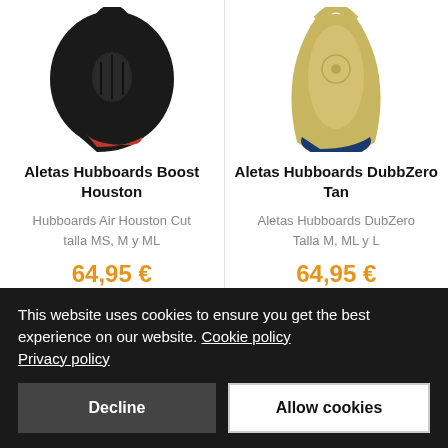[Figure (photo): Black swim fins (Hubboards Boost Houston) with red inner sole, shown from above on white background]
Aletas Hubboards Boost Houston
Hubboards Air Houston Cut talla MS, M y ML
64,95 €
[Figure (photo): Tan/khaki and dark blue swim fins (Hubboards DubbZero Tan), shown from above on white background]
Aletas Hubboards DubbZero Tan
Aletas Hubboards DubZero Talla M, ML y L
64,95 €
This website uses cookies to ensure you get the best experience on our website. Cookie policy Privacy policy
Decline
Allow cookies